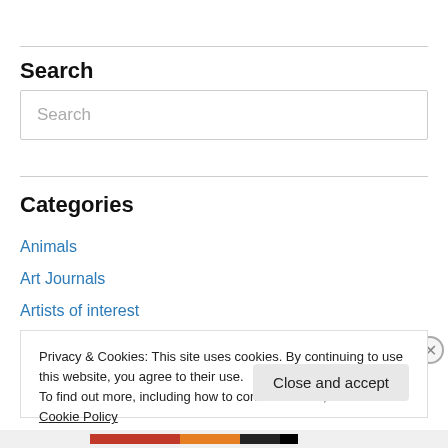Search
Search
Categories
Animals
Art Journals
Artists of interest
Privacy & Cookies: This site uses cookies. By continuing to use this website, you agree to their use.
To find out more, including how to control cookies, see here: Cookie Policy
Close and accept